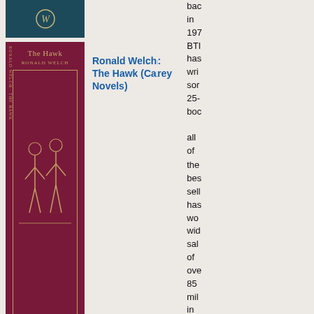[Figure (photo): Dark teal book cover with emblem, partially visible at top]
[Figure (photo): Maroon hardcover book - The Hawk by Ronald Welch (Carey Novels)]
Ronald Welch: The Hawk (Carey Novels)
[Figure (photo): Book cover - The Hunting Dogs by Jorn Lier Horst]
Jorn Lier Horst: The Hunting Dogs
[Figure (photo): Book cover - Closed For Winter by Jorn Lier Horst, partially visible]
Jorn Lier Horst: Closed
bac in 197 BTI has wri sor 25- boc all of the bes sell has wo wid sal of ove 85 mil in 90